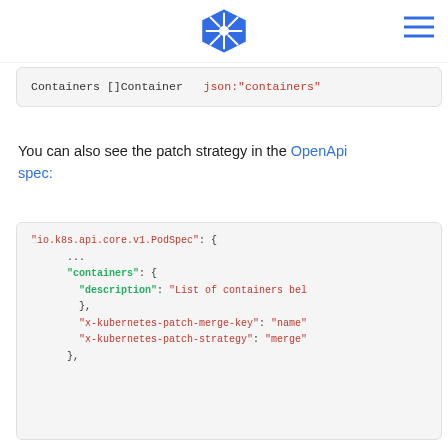Kubernetes logo and navigation
[Figure (screenshot): Code block showing: Containers []Container json:"containers"]
You can also see the patch strategy in the OpenApi spec:
[Figure (screenshot): Code block showing OpenAPI spec JSON with io.k8s.api.core.v1.PodSpec, containers object with description, x-kubernetes-patch-merge-key and x-kubernetes-patch-strategy fields]